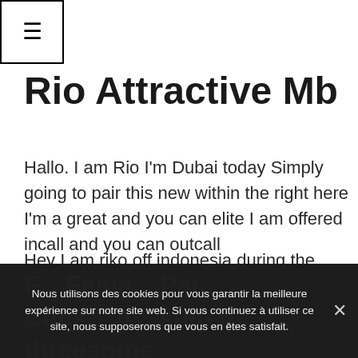[Figure (other): Hamburger menu button icon (three horizontal lines) inside a square border]
Rio Attractive Mb
Hallo. I am Rio I'm Dubai today Simply going to pair this new within the right here I'm a great and you can elite I am offered incall and you can outcall
Hey I am riko off indonesia during the dubai now,I am bring a good complete system therapeutic massage and you will gorgeous gender enjoyable,designed for incall and you may outcall
Nous utilisons des cookies pour vous garantir la meilleure expérience sur notre site web. Si vous continuez à utiliser ce site, nous supposerons que vous en êtes satisfait.